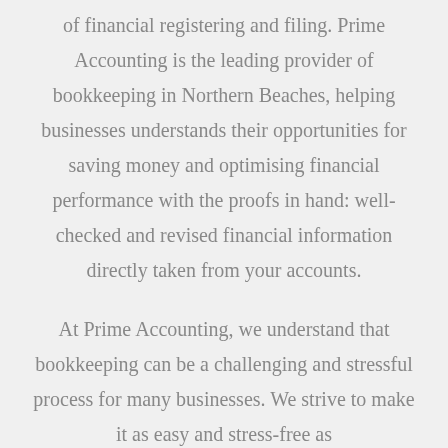of financial registering and filing. Prime Accounting is the leading provider of bookkeeping in Northern Beaches, helping businesses understands their opportunities for saving money and optimising financial performance with the proofs in hand: well-checked and revised financial information directly taken from your accounts.
At Prime Accounting, we understand that bookkeeping can be a challenging and stressful process for many businesses. We strive to make it as easy and stress-free as